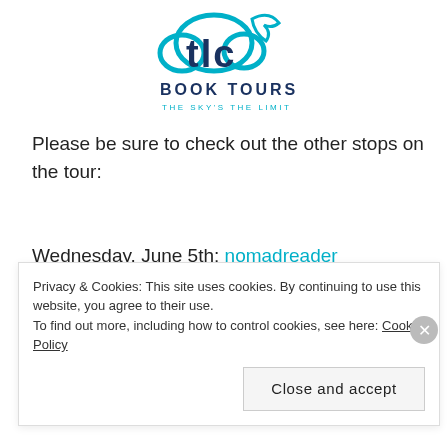[Figure (logo): TLC Book Tours logo with teal/blue cloud and bird shapes, tagline THE SKY'S THE LIMIT]
Please be sure to check out the other stops on the tour:
Wednesday, June 5th: nomadreader
Thursday, June 6th: A Dream Within a Dream
Monday, June 10th: Kritters Ramblings
Tuesday, June 11th: Tales of a Book Addict
Privacy & Cookies: This site uses cookies. By continuing to use this website, you agree to their use. To find out more, including how to control cookies, see here: Cookie Policy
Close and accept